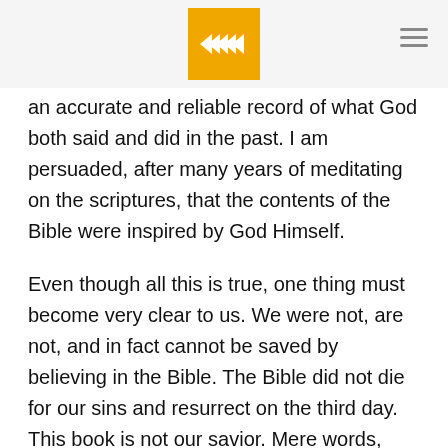[Logo: wheat/grain icon on gold background] [Hamburger menu icon]
an accurate and reliable record of what God both said and did in the past. I am persuaded, after many years of meditating on the scriptures, that the contents of the Bible were inspired by God Himself.
Even though all this is true, one thing must become very clear to us. We were not, are not, and in fact cannot be saved by believing in the Bible. The Bible did not die for our sins and resurrect on the third day. This book is not our savior. Mere words, even though they were given by God, apart from the revelation of God Himself, can never save us. We are saved by believing in a living, resurrected Person, Jesus Christ.